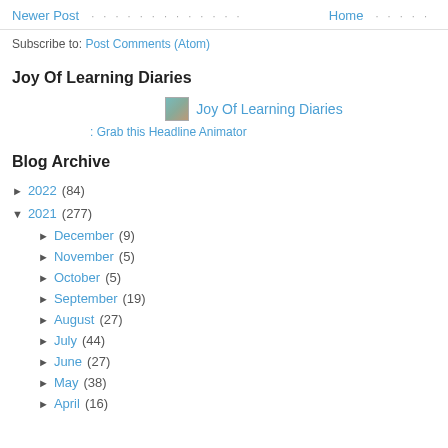Newer Post · · · · · · · · · · · · Home · · · · ·
Subscribe to: Post Comments (Atom)
Joy Of Learning Diaries
[Figure (other): Joy Of Learning Diaries headline animator widget with small image icon and link text]
: Grab this Headline Animator
Blog Archive
► 2022 (84)
▼ 2021 (277)
► December (9)
► November (5)
► October (5)
► September (19)
► August (27)
► July (44)
► June (27)
► May (38)
► April (16)